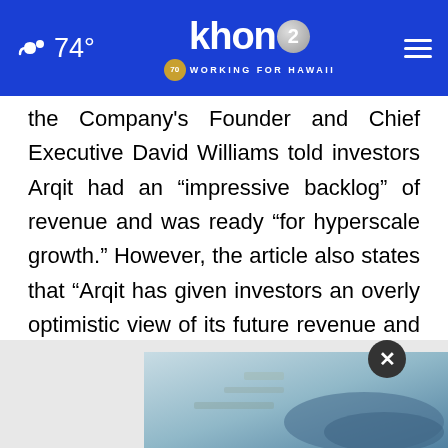74° khon2 WORKING FOR HAWAII
the Company's Founder and Chief Executive David Williams told investors Arqit had an “impressive backlog” of revenue and was ready “for hyperscale growth.” However, the article also states that “Arqit has given investors an overly optimistic view of its future revenue and the readiness and workability of its signature encryption system, according to former employees and other people familiar with the company and documents viewed by the Wall Stree
[Figure (screenshot): Advertisement overlay with close button and partial aerial map image]